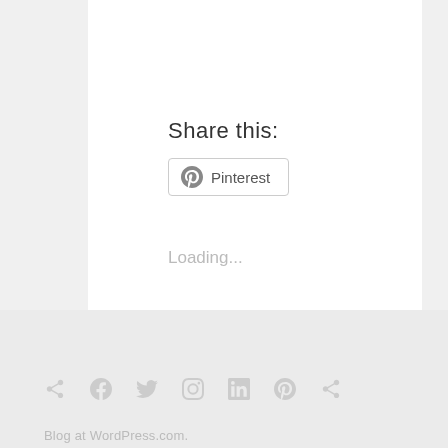Share this:
Pinterest
Loading...
[Figure (other): Row of social media icons: share, Facebook, Twitter, Instagram, LinkedIn, Pinterest, share]
Blog at WordPress.com.